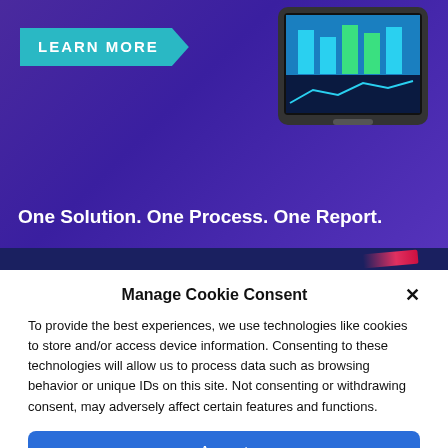[Figure (screenshot): Purple/violet banner advertisement with 'LEARN MORE' teal badge on left, a tablet device showing a bar chart on the right, and tagline 'One Solution. One Process. One Report.' in white at the bottom.]
Manage Cookie Consent
To provide the best experiences, we use technologies like cookies to store and/or access device information. Consenting to these technologies will allow us to process data such as browsing behavior or unique IDs on this site. Not consenting or withdrawing consent, may adversely affect certain features and functions.
Accept
Deny